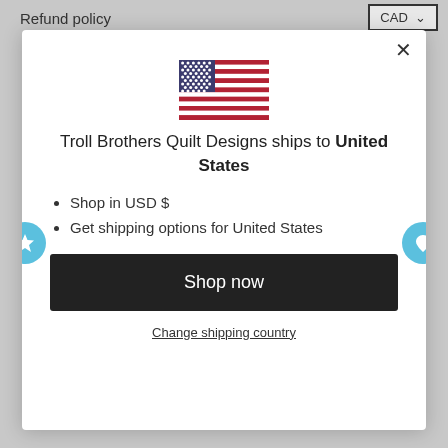Refund policy
[Figure (screenshot): Modal dialog showing US flag emoji, shipping destination message, bullet points, Shop now button, and Change shipping country link]
Troll Brothers Quilt Designs ships to United States
Shop in USD $
Get shipping options for United States
Shop now
Change shipping country